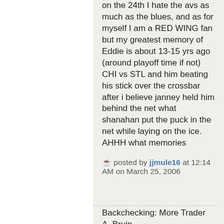on the 24th I hate the avs as much as the blues, and as for myself I am a RED WING fan but my greatest memory of Eddie is about 13-15 yrs ago (around playoff time if not) CHI vs STL and him beating his stick over the crossbar after i believe janney held him behind the net what shanahan put the puck in the net while laying on the ice. AHHH what memories
posted by jjmule16 at 12:14 AM on March 25, 2006
Backchecking: More Trader A. Bruin